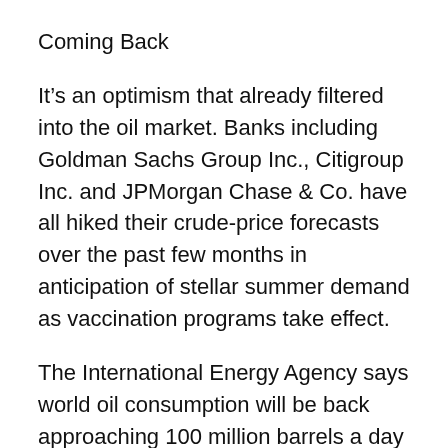Coming Back
It’s an optimism that already filtered into the oil market. Banks including Goldman Sachs Group Inc., Citigroup Inc. and JPMorgan Chase & Co. have all hiked their crude-price forecasts over the past few months in anticipation of stellar summer demand as vaccination programs take effect.
The International Energy Agency says world oil consumption will be back approaching 100 million barrels a day by the end of the year, about 6% higher than the first quarter. In a report Wednesday, the agency said OPEC+ could quickly bring supply back if oil markets tighten.
For now though, rates for the industry’s biggest tankers are